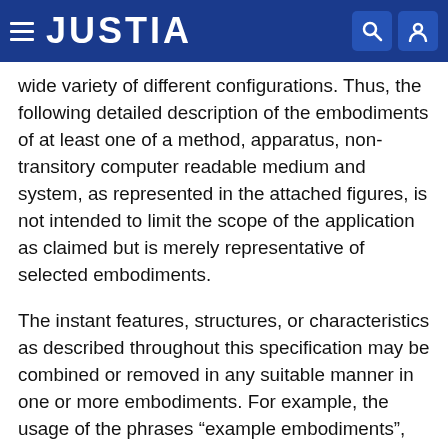JUSTIA
wide variety of different configurations. Thus, the following detailed description of the embodiments of at least one of a method, apparatus, non-transitory computer readable medium and system, as represented in the attached figures, is not intended to limit the scope of the application as claimed but is merely representative of selected embodiments.
The instant features, structures, or characteristics as described throughout this specification may be combined or removed in any suitable manner in one or more embodiments. For example, the usage of the phrases “example embodiments”, “some embodiments”, or other similar language, throughout this specification refers to the fact that a particular feature, structure, or characteristic described in connection with the embodiment may be included in at least one